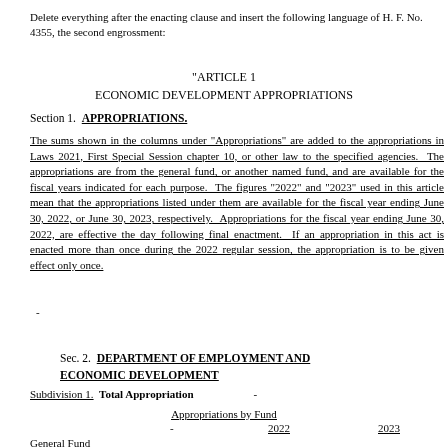Delete everything after the enacting clause and insert the following language of H. F. No. 4355, the second engrossment:
"ARTICLE 1
ECONOMIC DEVELOPMENT APPROPRIATIONS
Section 1.  APPROPRIATIONS.
The sums shown in the columns under "Appropriations" are added to the appropriations in Laws 2021, First Special Session chapter 10, or other law to the specified agencies.  The appropriations are from the general fund, or another named fund, and are available for the fiscal years indicated for each purpose.  The figures "2022" and "2023" used in this article mean that the appropriations listed under them are available for the fiscal year ending June 30, 2022, or June 30, 2023, respectively.  Appropriations for the fiscal year ending June 30, 2022, are effective the day following final enactment.  If an appropriation in this act is enacted more than once during the 2022 regular session, the appropriation is to be given effect only once.
-
Sec. 2.  DEPARTMENT OF EMPLOYMENT AND ECONOMIC DEVELOPMENT
Subdivision 1.  Total Appropriation	-
Appropriations by Fund
-	2022	2023
General Fund